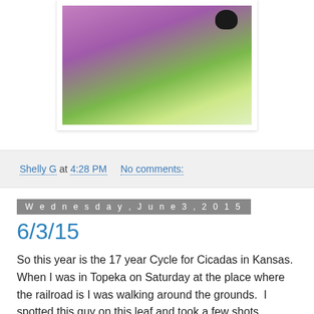[Figure (photo): Close-up photo of a bumblebee on pink/purple flowers with green foliage in background, shown in a white-bordered frame]
Shelly G at 4:28 PM    No comments:
Wednesday, June 3, 2015
6/3/15
So this year is the 17 year Cycle for Cicadas in Kansas.  When I was in Topeka on Saturday at the place where the railroad is I was walking around the grounds.  I spotted this guy on this leaf and took a few shots.  When I looked up into the trees I could see a whole bunch of them.  They all were silent though.  If you know about Cicadas they make quite a racket and I can't imagine what that many of them would have sounded like.  I'm guessing they were quiet because it was cold and drizzly at the time.  It would have been